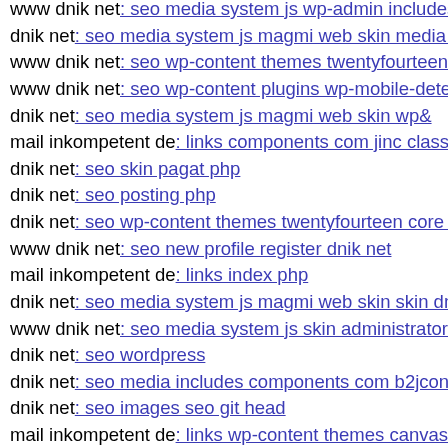www dnik net: seo media system js wp-admin includes pl...
dnik net: seo media system js magmi web skin media api p...
www dnik net: seo wp-content themes twentyfourteen web...
www dnik net: seo wp-content plugins wp-mobile-detector...
dnik net: seo media system js magmi web skin wp&
mail inkompetent de: links components com jinc classes g...
dnik net: seo skin pagat php
dnik net: seo posting php
dnik net: seo wp-content themes twentyfourteen core comp...
www dnik net: seo new profile register dnik net
mail inkompetent de: links index php
dnik net: seo media system js magmi web skin skin dnik n...
www dnik net: seo media system js skin administrator ima...
dnik net: seo wordpress
dnik net: seo media includes components com b2jcontact s...
dnik net: seo images seo git head
mail inkompetent de: links wp-content themes canvas s ink...
s inkompetent de: links wp-content api modules mod socia...
www dnik net: seo js tinymce 1337 php
www dnik net: seo media system js wp-admin includes plu...
s inkompetent de: links s inkompetent de